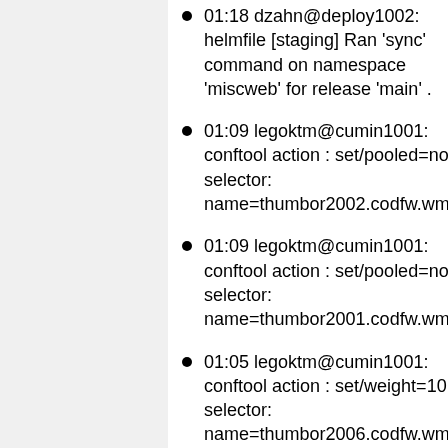01:18 dzahn@deploy1002: helmfile [staging] Ran 'sync' command on namespace 'miscweb' for release 'main' .
01:09 legoktm@cumin1001: conftool action : set/pooled=no; selector: name=thumbor2002.codfw.wmnet
01:09 legoktm@cumin1001: conftool action : set/pooled=no; selector: name=thumbor2001.codfw.wmnet
01:05 legoktm@cumin1001: conftool action : set/weight=10; selector: name=thumbor2006.codfw.wmnet
01:05 legoktm@cumin1001: conftool action : set/weight=10; selector: name=thumbor2005.codfw.wmnet
00:56 legoktm@cumin1001: conftool action : set/weight=5; selector: name=thumbor2006.codfw.wmnet
00:56 legoktm@cumin1001: conftool